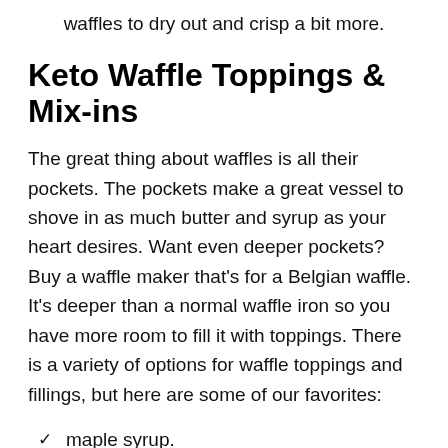waffles to dry out and crisp a bit more.
Keto Waffle Toppings & Mix-ins
The great thing about waffles is all their pockets. The pockets make a great vessel to shove in as much butter and syrup as your heart desires. Want even deeper pockets? Buy a waffle maker that's for a Belgian waffle. It's deeper than a normal waffle iron so you have more room to fill it with toppings. There is a variety of options for waffle toppings and fillings, but here are some of our favorites:
maple syrup.